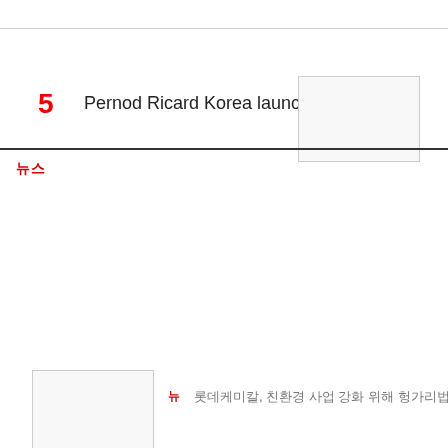5   Pernod Ricard Korea launches R…
뉴스
뉴   롯데케미칼, 친환경 사업 강화 위해 헝가리법인 설립 완료
Big Biz  SK Geo Centric, SABIC join hands to produce high-performance
뉴   롯데케미칼-토탈에너지, 나프타크래커 5조 규모로 합작 추진